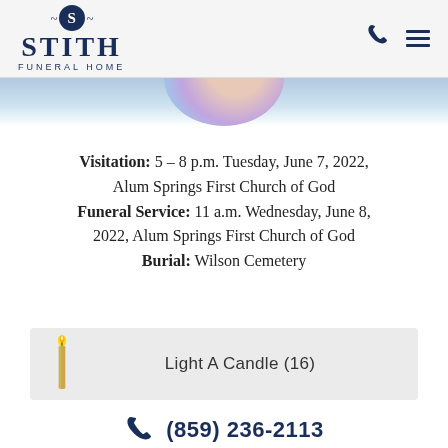Stith Funeral Home
[Figure (photo): Partial circular portrait photo of deceased, showing floral/colorful background, cropped at top of page]
Visitation: 5 – 8 p.m. Tuesday, June 7, 2022, Alum Springs First Church of God
Funeral Service: 11 a.m. Wednesday, June 8, 2022, Alum Springs First Church of God
Burial: Wilson Cemetery
Light A Candle (16)
(859) 236-2113